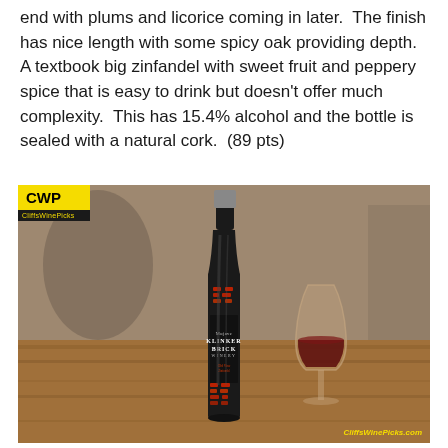end with plums and licorice coming in later.  The finish has nice length with some spicy oak providing depth.  A textbook big zinfandel with sweet fruit and peppery spice that is easy to drink but doesn't offer much complexity.  This has 15.4% alcohol and the bottle is sealed with a natural cork.  (89 pts)
[Figure (photo): Photo of a Klinker Brick Winery wine bottle (dark bottle with red brick-pattern label) next to a stemless glass of red wine, placed on a wooden table. CWP / CliffsWinePicks logo badge in upper-left corner. CliffsWinePicks.com watermark in lower-right.]